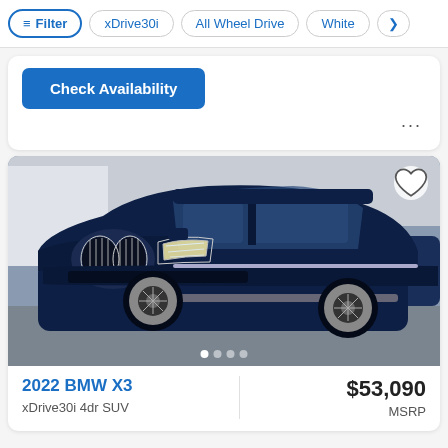Filter | xDrive30i | All Wheel Drive | White
Check Availability
[Figure (photo): Navy blue 2022 BMW X3 xDrive30i SUV photographed from front-left angle in a dealership lot]
2022 BMW X3
xDrive30i 4dr SUV
$53,090 MSRP